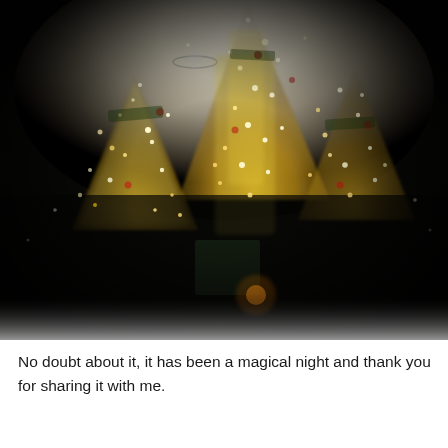[Figure (photo): A dark, atmospheric photo taken looking up at multiple decorated Christmas trees with cascading warm golden/yellow lights, photographed from below against a white ceiling. The trees are tall with sparkling ornamental lights giving a magical effect. The image has a heavy vignette with dark grainy edges, making the bright lights in the center glow dramatically.]
No doubt about it, it has been a magical night and thank you for sharing it with me.